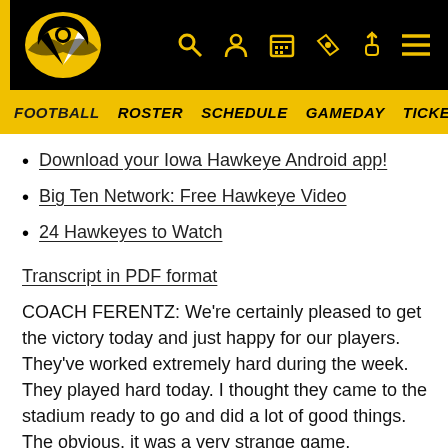[Figure (logo): Iowa Hawkeyes header with logo and navigation icons on black background]
FOOTBALL  ROSTER  SCHEDULE  GAMEDAY  TICKETS  CH
Download your Iowa Hawkeye Android app!
Big Ten Network: Free Hawkeye Video
24 Hawkeyes to Watch
Transcript in PDF format
COACH FERENTZ: We're certainly pleased to get the victory today and just happy for our players. They've worked extremely hard during the week. They played hard today. I thought they came to the stadium ready to go and did a lot of good things. The obvious, it was a very strange game, statistically and the whole nine